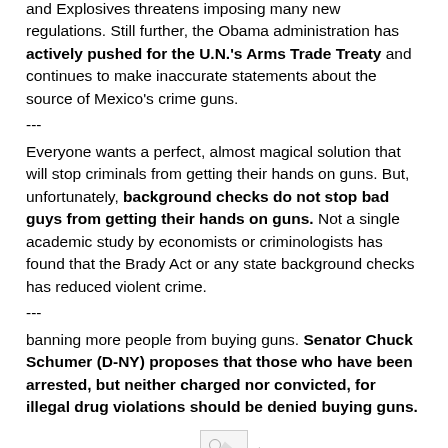and Explosives threatens imposing many new regulations. Still further, the Obama administration has actively pushed for the U.N.'s Arms Trade Treaty and continues to make inaccurate statements about the source of Mexico's crime guns.
---
Everyone wants a perfect, almost magical solution that will stop criminals from getting their hands on guns. But, unfortunately, background checks do not stop bad guys from getting their hands on guns. Not a single academic study by economists or criminologists has found that the Brady Act or any state background checks has reduced violent crime.
---
banning more people from buying guns. Senator Chuck Schumer (D-NY) proposes that those who have been arrested, but neither charged nor convicted, for illegal drug violations should be denied buying guns.
[Figure (other): Broken/missing image placeholder icon]
Dr. Lott references this Washington Times article.